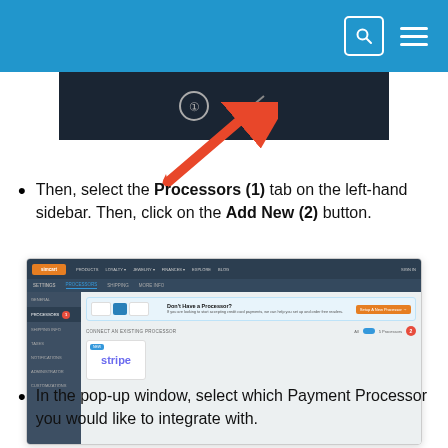[Figure (screenshot): Partial screenshot of a dark UI with icons and a red arrow pointing to the settings/account area]
Then, select the Processors (1) tab on the left-hand sidebar. Then, click on the Add New (2) button.
[Figure (screenshot): Screenshot of SimCart admin interface showing the Processors tab selected in the left sidebar with a red badge (1), a 'Don't Have a Processor?' promo banner, and a Stripe processor card with an 'Add New' button (red circle with 2)]
In the pop-up window, select which Payment Processor you would like to integrate with.